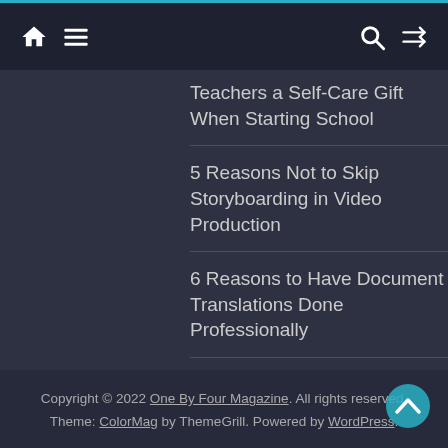Navigation bar with home, menu, search, and shuffle icons
Teachers a Self-Care Gift When Starting School
5 Reasons Not to Skip Storyboarding in Video Production
6 Reasons to Have Document Translations Done Professionally
Copyright © 2022 One By Four Magazine. All rights reserved. Theme: ColorMag by ThemeGrill. Powered by WordPress.